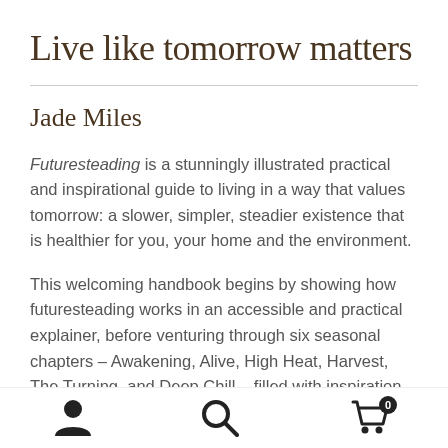Live like tomorrow matters
Jade Miles
Futuresteading is a stunningly illustrated practical and inspirational guide to living in a way that values tomorrow: a slower, simpler, steadier existence that is healthier for you, your home and the environment.
This welcoming handbook begins by showing how futuresteading works in an accessible and practical explainer, before venturing through six seasonal chapters – Awakening, Alive, High Heat, Harvest, The Turning, and Deep Chill – filled with inspiration for the
Navigation icons: user, search, cart (0)